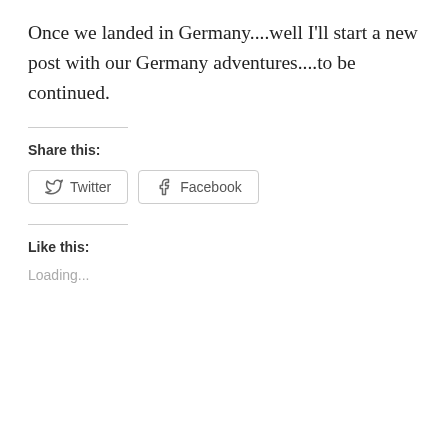Once we landed in Germany....well I'll start a new post with our Germany adventures....to be continued.
Share this:
Twitter Facebook
Like this:
Loading...